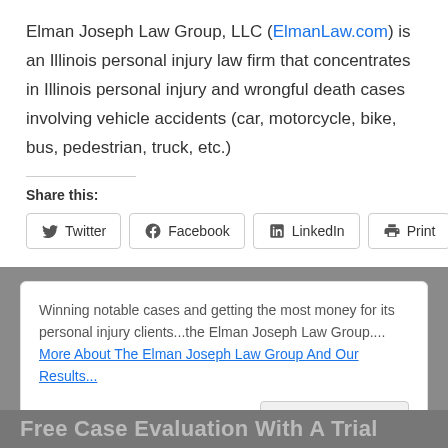Elman Joseph Law Group, LLC (ElmanLaw.com) is an Illinois personal injury law firm that concentrates in Illinois personal injury and wrongful death cases involving vehicle accidents (car, motorcycle, bike, bus, pedestrian, truck, etc.)
Share this:
Winning notable cases and getting the most money for its personal injury clients...the Elman Joseph Law Group.... More About The Elman Joseph Law Group And Our Results...
Close message
Free Case Evaluation With A Trial